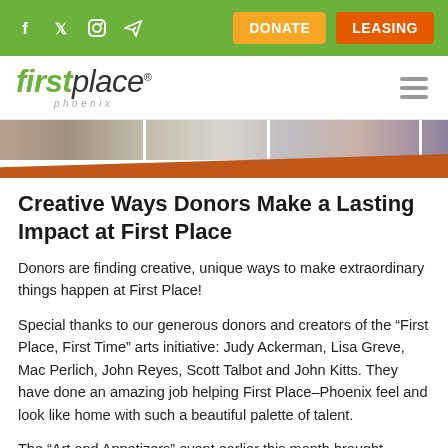DONATE | LEASING | social icons (Facebook, Twitter, Instagram, Telegram)
[Figure (logo): First Place Phoenix logo with green 'first' and grey 'place' in italic text, with 'phoenix' in small italic letters below]
[Figure (photo): Hero banner with photo strip showing people at events, with an orange diagonal bar at the bottom]
Creative Ways Donors Make a Lasting Impact at First Place
Donors are finding creative, unique ways to make extraordinary things happen at First Place!
Special thanks to our generous donors and creators of the “First Place, First Time” arts initiative: Judy Ackerman, Lisa Greve, Mac Perlich, John Reyes, Scott Talbot and John Kitts. They have done an amazing job helping First Place–Phoenix feel and look like home with such a beautiful palette of talent.
The “Art and Appetizers” event earlier this month brought residents